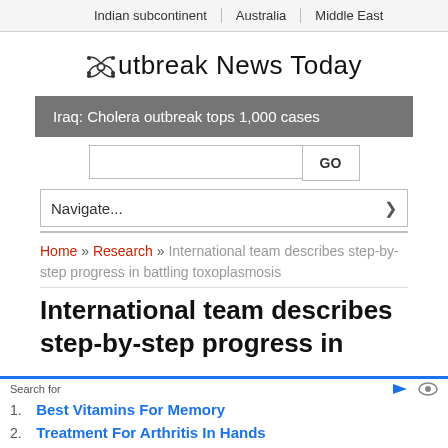Indian subcontinent | Australia | Middle East
Outbreak News Today
Iraq: Cholera outbreak tops 1,000 cases
Navigate...
Home » Research » International team describes step-by-step progress in battling toxoplasmosis
International team describes step-by-step progress in
Search for
1. Best Vitamins For Memory
2. Treatment For Arthritis In Hands